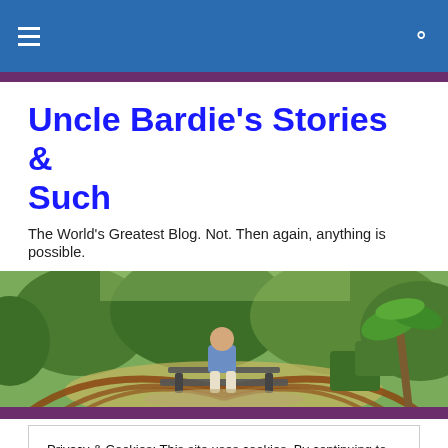Uncle Bardie's Stories & Such — site header bar
Uncle Bardie's Stories & Such
The World's Greatest Blog. Not. Then again, anything is possible.
[Figure (photo): Outdoor garden scene with a person sitting on a bench surrounded by greenery, hedges, and palm trees.]
Privacy & Cookies: This site uses cookies. By continuing to use this website, you agree to their use.
To find out more, including how to control cookies, see here: Cookie Policy
Wendy dropped her boy off at the airport on a Friday